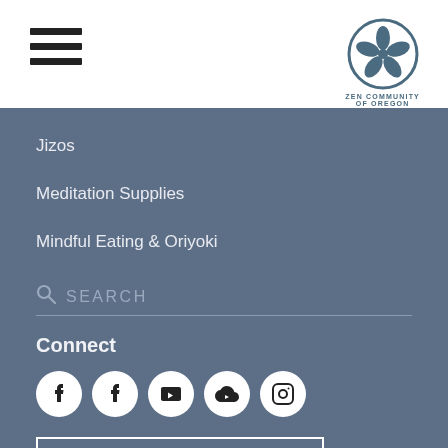[Figure (logo): Hamburger menu icon (three horizontal lines)]
[Figure (logo): Zen Community of Oregon circular flower logo with text beneath]
Jizos
Meditation Supplies
Mindful Eating & Oriyoki
SEARCH
Connect
[Figure (infographic): Row of 5 social media icon circles: Facebook, Facebook, YouTube, Cloud/streaming, Instagram]
NEWSLETTER SIGNUP